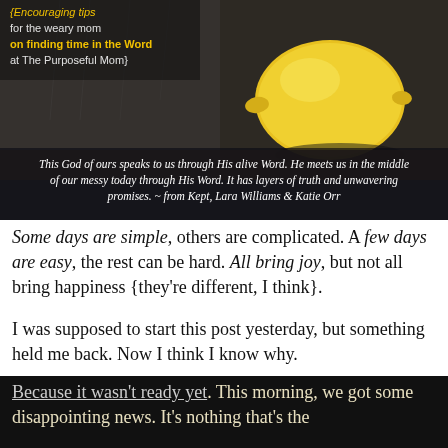[Figure (photo): Dark moody photo of a lemon sitting on a windowsill with rain visible through the window. Overlaid text at top left reads encouraging tips for the weary mom on finding time in the Word at The Purposeful Mom. Bottom overlay quote: This God of ours speaks to us through His alive Word. He meets us in the middle of our messy today through His Word. It has layers of truth and unwavering promises. - from Kept, Lara Williams & Katie Orr]
Some days are simple, others are complicated. A few days are easy, the rest can be hard. All bring joy, but not all bring happiness {they're different, I think}.
I was supposed to start this post yesterday, but something held me back. Now I think I know why.
Because it wasn't ready yet. This morning, we got some disappointing news. It's nothing that's the